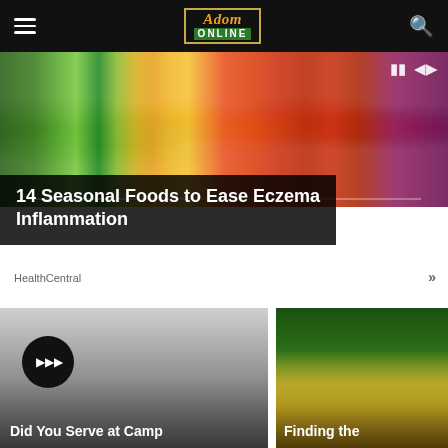Adom ONLINE
[Figure (photo): Hero image showing colorful seasonal foods and vegetables including celery, kiwi, oranges, tomatoes, grapefruit, and purple cabbage]
14 Seasonal Foods to Ease Eczema Inflammation
HealthCentral
[Figure (screenshot): Audio player card with play button showing 'Did You Serve at Camp' text at bottom, gray gradient background]
[Figure (photo): Partially visible card showing 'Finding the' text at bottom, with a photo of fingers touching a watermelon slice]
Did You Serve at Camp
Finding the